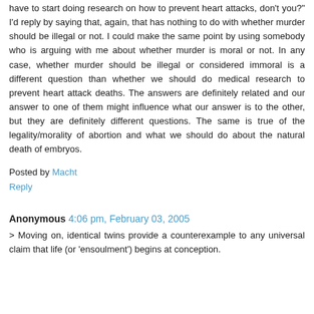have to start doing research on how to prevent heart attacks, don't you?" I'd reply by saying that, again, that has nothing to do with whether murder should be illegal or not. I could make the same point by using somebody who is arguing with me about whether murder is moral or not. In any case, whether murder should be illegal or considered immoral is a different question than whether we should do medical research to prevent heart attack deaths. The answers are definitely related and our answer to one of them might influence what our answer is to the other, but they are definitely different questions. The same is true of the legality/morality of abortion and what we should do about the natural death of embryos.
Posted by Macht
Reply
Anonymous 4:06 pm, February 03, 2005
> Moving on, identical twins provide a counterexample to any universal claim that life (or 'ensoulment') begins at conception.